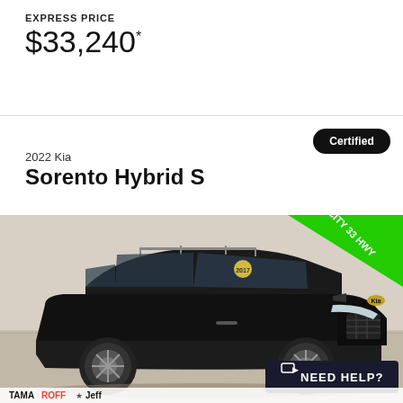EXPRESS PRICE
$33,240*
Certified
2022 Kia
Sorento Hybrid S
[Figure (photo): Black 2022 Kia Sorento Hybrid S SUV in a dealership photo, three-quarter front view, with a yellow sticker on the windshield. A green diagonal banner in the upper right corner reads '36 CITY 33 HWY'. A 'NEED HELP?' chat button appears in the lower right. The dealer logo 'TAMAROFF Jeff' is visible at the bottom.]